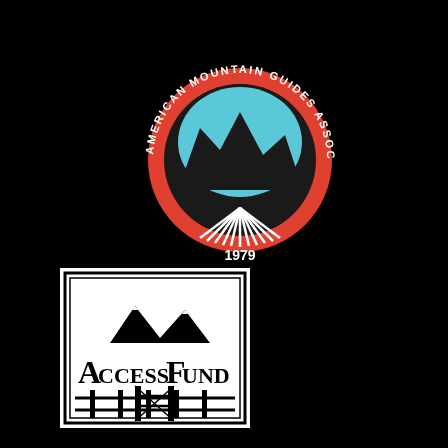[Figure (logo): American Mountain Guides Association circular logo with red border, text 'AMERICAN MOUNTAIN GUIDES ASSOCIATION' around the circle, blue sky and mountain silhouette in center, radiating lines at bottom, and '1979' text, founded year]
[Figure (logo): Access Fund logo in black and white, rectangular border with mountain scene, text 'ACCESS FUND' in large letters, fence image at bottom]